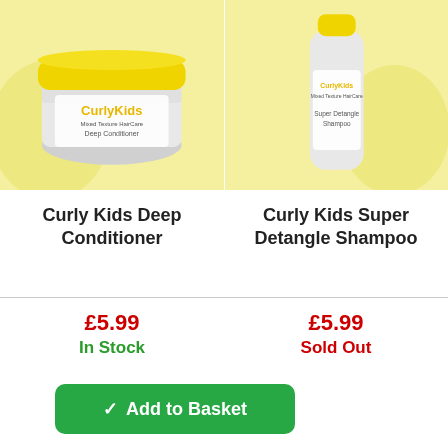[Figure (photo): Curly Kids Deep Conditioner product jar with yellow lid on yellow background]
[Figure (photo): Curly Kids Super Detangle Shampoo bottle with yellow cap on yellow background]
Curly Kids Deep Conditioner
Curly Kids Super Detangle Shampoo
£5.99
In Stock
£5.99
Sold Out
✓ Add to Basket